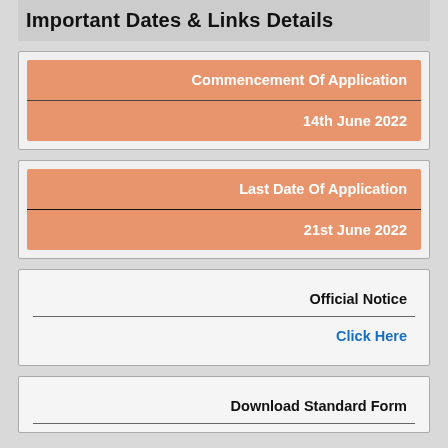Important Dates & Links Details
| Commencement Of Application | 14th June 2022 |
| --- | --- |
| Last Date Of Application | 21st June 2022 |
| --- | --- |
| Official Notice | Click Here |
| --- | --- |
| Download Standard Form |
| --- |